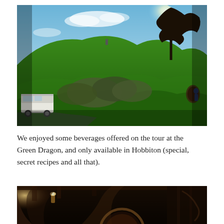[Figure (photo): Outdoor photo of Hobbiton movie set showing a lush green hill with hobbit holes built into it, a tree silhouetted against a blue sky with clouds and sunlight, shrubs in the middle ground, and a white van parked on the left side of the path.]
We enjoyed some beverages offered on the tour at the Green Dragon, and only available in Hobbiton (special, secret recipes and all that).
[Figure (photo): Interior photo of the Green Dragon Inn at Hobbiton, showing warm golden lighting from a wall sconce, wooden architectural arches, and a round hobbit-style window or door, with dark wood tones throughout.]